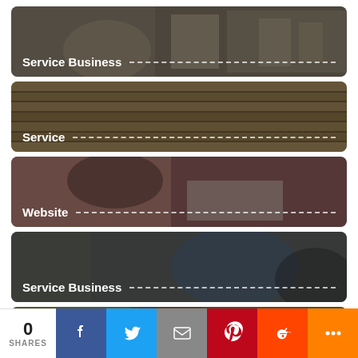[Figure (photo): Card with blurred office/chair background, labeled 'Service Business' with dashed line]
[Figure (photo): Card with rolls of material/cardboard background, labeled 'Service' with dashed line]
[Figure (photo): Card with woman working background, labeled 'Website' with dashed line]
[Figure (photo): Card with person writing background, labeled 'Service Business' with dashed line]
[Figure (photo): Partial card at bottom with olive/green tones]
0 SHARES
Facebook share button
Twitter share button
Email share button
Pinterest share button
Reddit share button
More share button